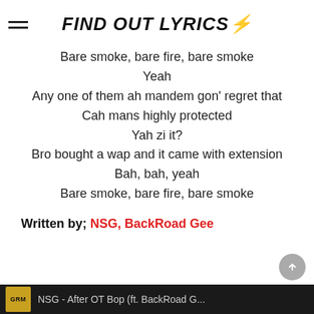FIND OUT LYRICS⚡
Bare smoke, bare fire, bare smoke
Yeah
Any one of them ah mandem gon' regret that
Cah mans highly protected
Yah zi it?
Bro bought a wap and it came with extension
Bah, bah, yeah
Bare smoke, bare fire, bare smoke
Written by; NSG, BackRoad Gee
NSG - After OT Bop (ft. BackRoad G...